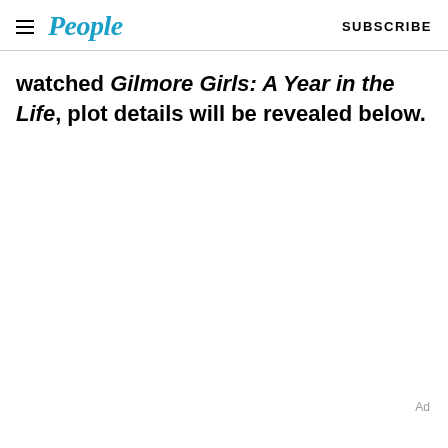People SUBSCRIBE
watched Gilmore Girls: A Year in the Life, plot details will be revealed below.
Ad